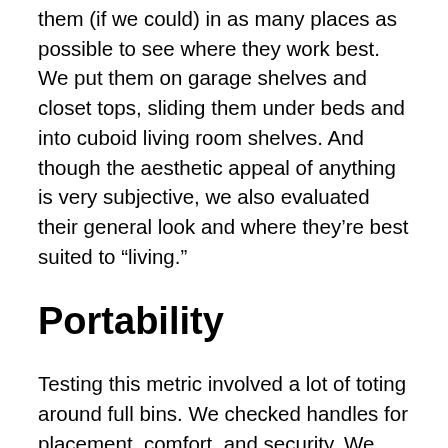them (if we could) in as many places as possible to see where they work best. We put them on garage shelves and closet tops, sliding them under beds and into cuboid living room shelves. And though the aesthetic appeal of anything is very subjective, we also evaluated their general look and where they’re best suited to “living.”
Portability
Testing this metric involved a lot of toting around full bins. We checked handles for placement, comfort, and security. We considered the box’s dimensions for easy carrying downstairs and through doorways. And we scrutinized how gracefully each